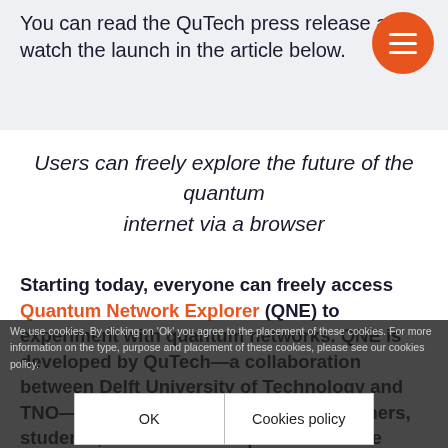You can read the QuTech press release and watch the launch in the article below.
Users can freely explore the future of the quantum internet via a browser
Starting today, everyone can freely access Quantum Network Explorer (QNE) to experiment with quantum networks. QNE is developed by QuTech—a collaboration between Delft University of Technology and TNO—and specifically aimed at researchers, students, software developers and future users of quantum network applications. QuTech believes in the power of community and wants to contribute by enabling users from different backgrounds to...
We use cookies. By clicking on 'Ok' you agree to the placement of these cookies. For more information on the type, purpose and placement of these cookies, please see our cookies policy.
OK
Cookies policy